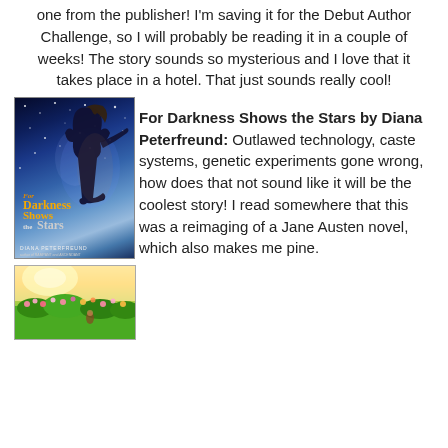one from the publisher! I'm saving it for the Debut Author Challenge, so I will probably be reading it in a couple of weeks! The story sounds so mysterious and I love that it takes place in a hotel. That just sounds really cool!
[Figure (photo): Book cover of 'For Darkness Shows the Stars' by Diana Peterfreund — woman in dark dress against a starry night sky]
For Darkness Shows the Stars by Diana Peterfreund: Outlawed technology, caste systems, genetic experiments gone wrong, how does that not sound like it will be the coolest story! I read somewhere that this was a reimaging of a Jane Austen novel, which also makes me pine.
[Figure (photo): Garden scene with flowers and warm sunlight]